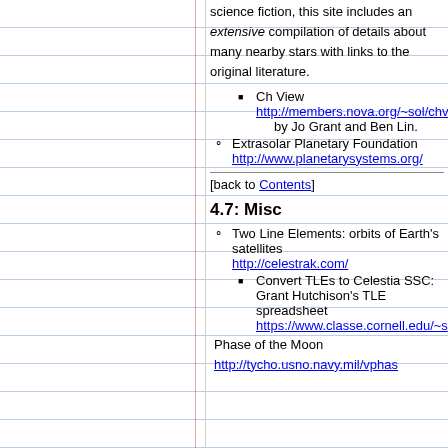science fiction, this site includes an extensive compilation of details about many nearby stars with links to the original literature.
Ch View http://members.nova.org/~sol/chv by Jo Grant and Ben Lin.
Extrasolar Planetary Foundation http://www.planetarysystems.org/
[back to Contents]
4.7: Misc
Two Line Elements: orbits of Earth's satellites http://celestrak.com/
Convert TLEs to Celestia SSC: Grant Hutchison's TLE spreadsheet https://www.classe.cornell.edu/~s
Phase of the Moon http://tycho.usno.navy.mil/vphas